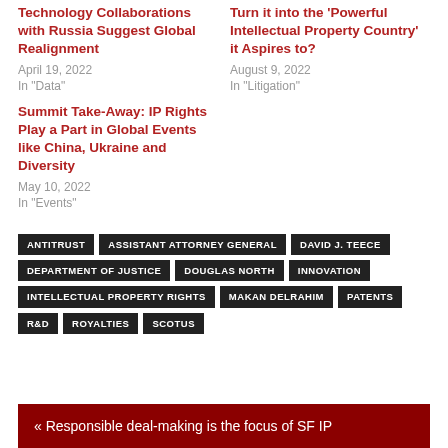Technology Collaborations with Russia Suggest Global Realignment
April 19, 2022
In "Data"
Turn it into the 'Powerful Intellectual Property Country' it Aspires to?
August 9, 2022
In "Litigation"
Summit Take-Away: IP Rights Play a Part in Global Events like China, Ukraine and Diversity
May 10, 2022
In "Events"
ANTITRUST
ASSISTANT ATTORNEY GENERAL
DAVID J. TEECE
DEPARTMENT OF JUSTICE
DOUGLAS NORTH
INNOVATION
INTELLECTUAL PROPERTY RIGHTS
MAKAN DELRAHIM
PATENTS
R&D
ROYALTIES
SCOTUS
« Responsible deal-making is the focus of SF IP